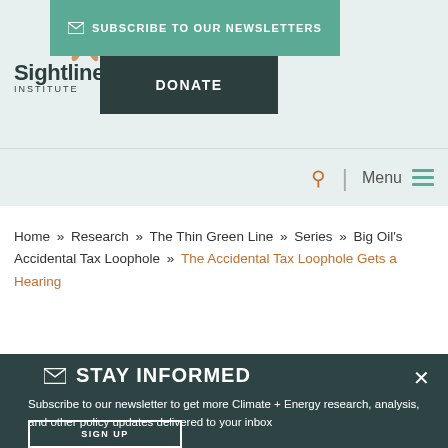Sightline Institute — Subscribe to our newsletters | Donate
Home » Research » The Thin Green Line » Series » Big Oil's Accidental Tax Loophole » The Accidental Tax Loophole Gets a Hearing
✉ STAY INFORMED
Subscribe to our newsletter to get more Climate + Energy research, analysis, and other policy updates delivered to your inbox
SIGN UP